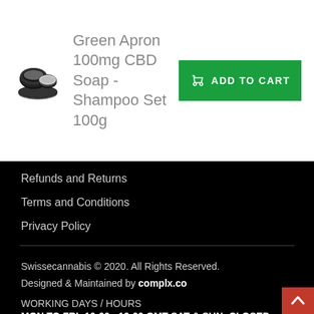[Figure (photo): Small circular product image of Green Apron CBD Soap/Shampoo jars (black/dark containers)]
Green Apron 100mg CBD Soap - Shampoo Set 100g
[Figure (other): Add to cart button - green rectangle with shopping bag icon and text ADD TO CART]
Refunds and Returns
Terms and Conditions
Privacy Policy
Swissecannabis © 2020. All Rights Reserved. Designed & Maintained by complx.co
WORKING DAYS / HOURS
MON TO FRI: 10:00 - 19:00 GMT SAT & SUN: CLOSED